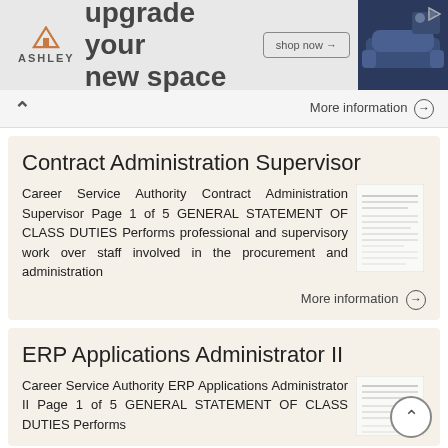[Figure (screenshot): Ashley Furniture advertisement banner: 'upgrade your new space' with shop now button and sofa image]
More information →
Contract Administration Supervisor
Career Service Authority Contract Administration Supervisor Page 1 of 5 GENERAL STATEMENT OF CLASS DUTIES Performs professional and supervisory work over staff involved in the procurement and administration
More information →
ERP Applications Administrator II
Career Service Authority ERP Applications Administrator II Page 1 of 5 GENERAL STATEMENT OF CLASS DUTIES Performs